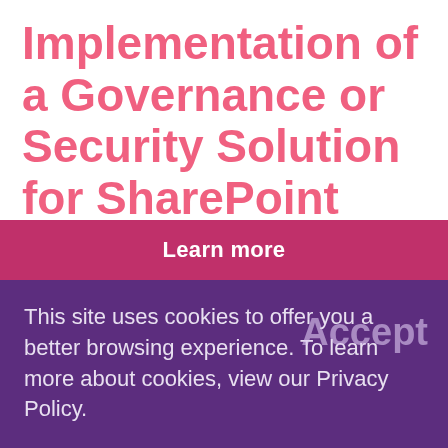Implementation of a Governance or Security Solution for SharePoint
Mississauga, May 4, 2015 – Metalogix and the SharePoint Best of Breed Awards Committee selected Extranet User Manager as a finalist for the category "Best Implementation of a
Learn more
This site uses cookies to offer you a better browsing experience. To learn more about cookies, view our Privacy Policy.
Accept